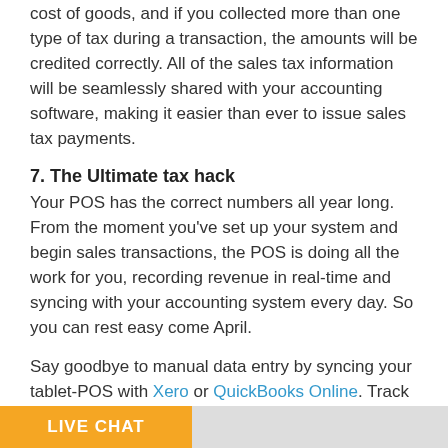cost of goods, and if you collected more than one type of tax during a transaction, the amounts will be credited correctly. All of the sales tax information will be seamlessly shared with your accounting software, making it easier than ever to issue sales tax payments.
7. The Ultimate tax hack
Your POS has the correct numbers all year long. From the moment you've set up your system and begin sales transactions, the POS is doing all the work for you, recording revenue in real-time and syncing with your accounting system every day. So you can rest easy come April.
Say goodbye to manual data entry by syncing your tablet-POS with Xero or QuickBooks Online. Track sales and expenses, get paid faster, and even run payroll anywhere, anytime, from any device.
Both sync with: Square | Paypal | Shopify | ShopKeep | Touchbistro | iConnect | Vend | Springboard And more
LIVE CHAT